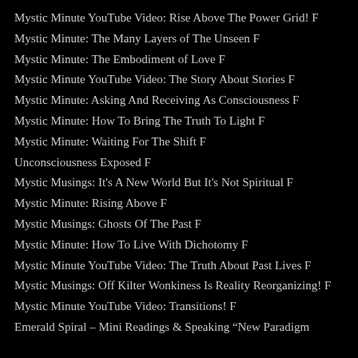Mystic Minute YouTube Video: Rise Above The Power Grid! F
Mystic Minute: The Many Layers of The Unseen F
Mystic Minute: The Embodiment of Love F
Mystic Minute YouTube Video: The Story About Stories F
Mystic Minute: Asking And Receiving As Consciousness F
Mystic Minute: How To Bring The Truth To Light F
Mystic Minute: Waiting For The Shift F
Unconsciousness Exposed F
Mystic Musings: It's A New World But It's Not Spiritual F
Mystic Minute: Rising Above F
Mystic Musings: Ghosts Of The Past F
Mystic Minute: How To Live With Dichotomy F
Mystic Minute YouTube Video: The Truth About Past Lives F
Mystic Musings: Off Kilter Wonkiness Is Reality Reorganizing! F
Mystic Minute YouTube Video: Transitions! F
Emerald Spiral – Mini Readings & Speaking “New Paradigm